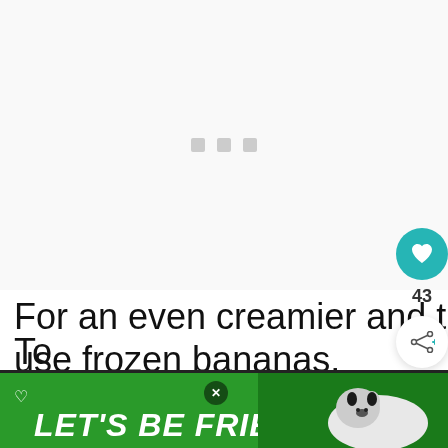[Figure (other): Loading placeholder area with three small grey square dots centered on a light grey background]
For an even creamier and thick texture, use frozen bananas.
[Figure (other): Teal circular like/heart button with heart icon, showing count of 43 below it, and a share button below that]
[Figure (other): WHAT'S NEXT panel with a colourful image thumbnail and text 'Peanut Butter Chocolate...']
To
[Figure (infographic): Green advertisement banner reading LET'S BE FRIENDS with a heart icon, a husky dog image on the right, and a close button]